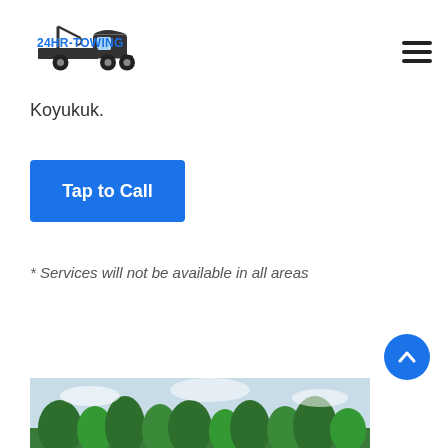[Figure (logo): 24HR-TOWING logo with a tow truck graphic. The text '24HR-TOWING' is in blue, and the truck is dark gray/black.]
Koyukuk.
[Figure (other): Blue 'Tap to Call' button]
* Services will not be available in all areas
[Figure (photo): Partial photo at bottom showing trees and sky landscape]